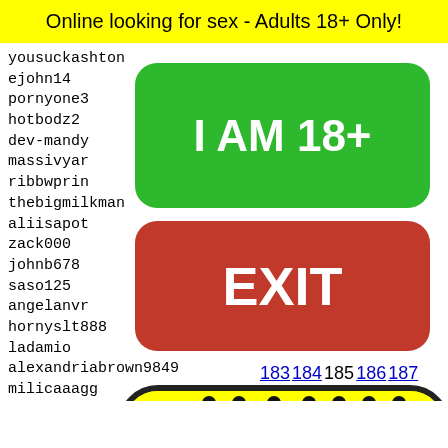Online looking for sex - Adults 18+ Only!
yousuckashton
ejohn14
pornyone3
hotbodz2
dev-mandy
massivyar
ribbwprin
thebigmilkman
aliisapot
zack000
johnb678
saso125
angelanvr
hornyslt888
ladamio
alexandriabrown9849
milicaaagg
juicyylovin
teffylovesyou
vitas1
mjohol
willde
brookl
kritom
allylo
[Figure (infographic): Green button saying I AM 18+]
[Figure (infographic): Red button saying EXIT]
183 184 185 186 187
[Figure (illustration): Yellow rounded emoji-like image with black dots pattern]